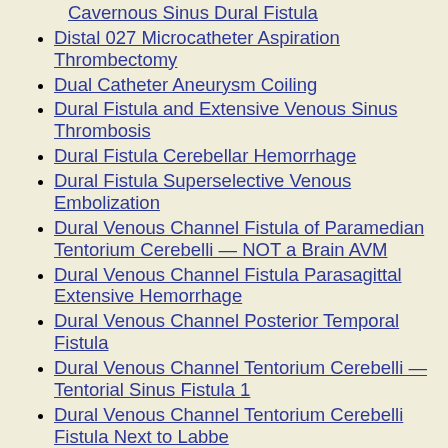Cavernous Sinus Dural Fistula
Distal 027 Microcatheter Aspiration Thrombectomy
Dual Catheter Aneurysm Coiling
Dural Fistula and Extensive Venous Sinus Thrombosis
Dural Fistula Cerebellar Hemorrhage
Dural Fistula Superselective Venous Embolization
Dural Venous Channel Fistula of Paramedian Tentorium Cerebelli — NOT a Brain AVM
Dural Venous Channel Fistula Parasagittal Extensive Hemorrhage
Dural Venous Channel Posterior Temporal Fistula
Dural Venous Channel Tentorium Cerebelli — Tentorial Sinus Fistula 1
Dural Venous Channel Tentorium Cerebelli Fistula Next to Labbe